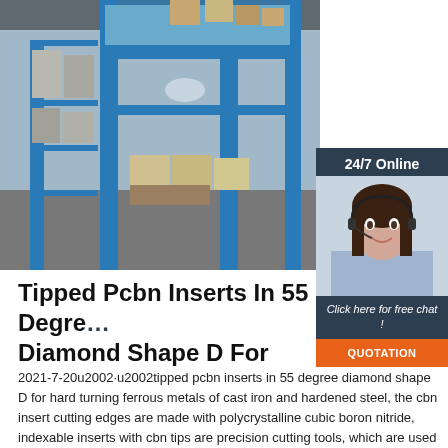[Figure (photo): Warehouse interior with blue steel shelving/lift structure and stacked boxes]
[Figure (photo): Customer service agent (woman with headset) with 24/7 Online label, Click here for free chat text, and QUOTATION button]
Tipped Pcbn Inserts In 55 Degree Diamond Shape D For
2021-7-20u2002·u2002tipped pcbn inserts in 55 degree diamond shape D for hard turning ferrous metals of cast iron and hardened steel, the cbn insert cutting edges are made with polycrystalline cubic boron nitride, indexable inserts with cbn tips are precision cutting tools, which are used in cnc fine finish